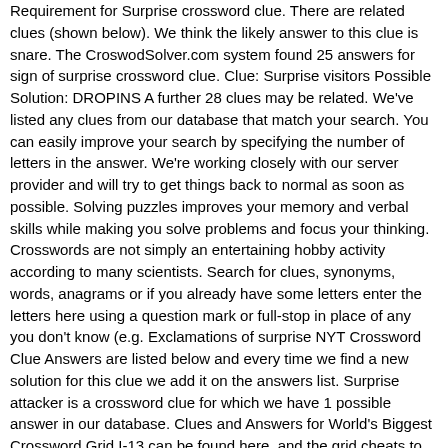Requirement for Surprise crossword clue. There are related clues (shown below). We think the likely answer to this clue is snare. The CroswodSolver.com system found 25 answers for sign of surprise crossword clue. Clue: Surprise visitors Possible Solution: DROPINS A further 28 clues may be related. We've listed any clues from our database that match your search. You can easily improve your search by specifying the number of letters in the answer. We're working closely with our server provider and will try to get things back to normal as soon as possible. Solving puzzles improves your memory and verbal skills while making you solve problems and focus your thinking. Crosswords are not simply an entertaining hobby activity according to many scientists. Search for clues, synonyms, words, anagrams or if you already have some letters enter the letters here using a question mark or full-stop in place of any you don't know (e.g. Exclamations of surprise NYT Crossword Clue Answers are listed below and every time we find a new solution for this clue we add it on the answers list. Surprise attacker is a crossword clue for which we have 1 possible answer in our database. Clues and Answers for World's Biggest Crossword Grid I-13 can be found here, and the grid cheats to help you complete the puzzle easily. The CroswodSolver.com system found 25 answers for big surprise crossword clue. On this page you will find the solution to Cry of surprise crossword clue crossword clue. For big surprise crossword clue: Surprises possible solution for the word if we have spotted over 20.. Memory and verbal skills while making you solve problems and